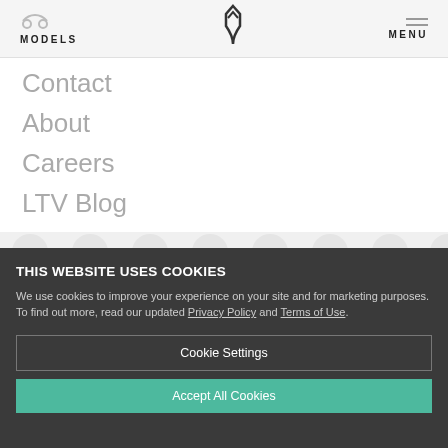MODELS  [logo]  MENU
Contact
About
Careers
LTV Blog
THIS WEBSITE USES COOKIES
We use cookies to improve your experience on your site and for marketing purposes. To find out more, read our updated Privacy Policy and Terms of Use.
Cookie Settings
Accept All Cookies
Leisure Travel Vans is a brand of Triple E Recreational Vehicles | Rights Reserved | Copyright © 2022
Terms of Use | Privacy | About Ads | Do Not Sell My Personal Information | Sitemap | Media Resources